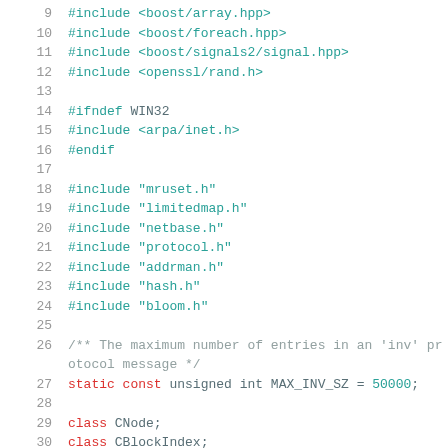Source code listing lines 9-30 of a C++ header file
9  #include <boost/array.hpp>
10  #include <boost/foreach.hpp>
11  #include <boost/signals2/signal.hpp>
12  #include <openssl/rand.h>
13
14  #ifndef WIN32
15  #include <arpa/inet.h>
16  #endif
17
18  #include "mruset.h"
19  #include "limitedmap.h"
20  #include "netbase.h"
21  #include "protocol.h"
22  #include "addrman.h"
23  #include "hash.h"
24  #include "bloom.h"
25
26  /** The maximum number of entries in an 'inv' protocol message */
27  static const unsigned int MAX_INV_SZ = 50000;
28
29  class CNode;
30  class CBlockIndex;